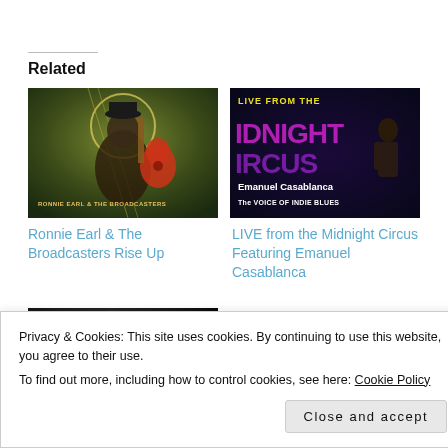Related
[Figure (photo): Album cover for Ronnie Earl & The Broadcasters Rise Up — musician playing guitar with colorful illustrated background]
Ronnie Earl & The Broadcasters Rise Up
[Figure (photo): Album/event cover for LIVE from the Midnight Circus Featuring Emanuel Casablanca — dark background with performer and stylized text]
LIVE from the Midnight Circus Featuring Emanuel Casablanca
[Figure (photo): Dark photo of a blues musician performing, partially visible]
Privacy & Cookies: This site uses cookies. By continuing to use this website, you agree to their use.
To find out more, including how to control cookies, see here: Cookie Policy
Close and accept